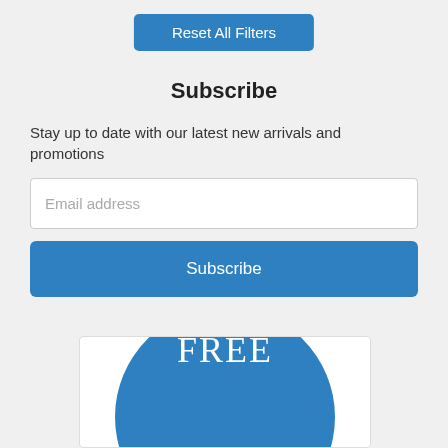Reset All Filters
Subscribe
Stay up to date with our latest new arrivals and promotions
Email address
Subscribe
[Figure (other): A blue circle partially visible at the bottom of the page with the text FREE in white serif letters on it, inside a white bordered box.]